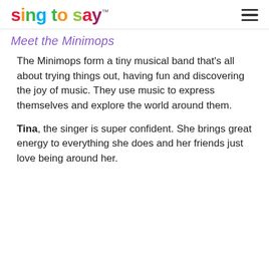sing to say™
Meet the Minimops
The Minimops form a tiny musical band that's all about trying things out, having fun and discovering the joy of music. They use music to express themselves and explore the world around them.
Tina, the singer is super confident. She brings great energy to everything she does and her friends just love being around her.